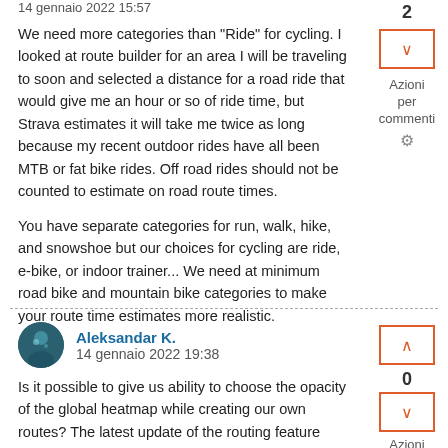We need more categories than "Ride" for cycling. I looked at route builder for an area I will be traveling to soon and selected a distance for a road ride that would give me an hour or so of ride time, but Strava estimates it will take me twice as long because my recent outdoor rides have all been MTB or fat bike rides. Off road rides should not be counted to estimate on road route times.

You have separate categories for run, walk, hike, and snowshoe but our choices for cycling are ride, e-bike, or indoor trainer... We need at minimum road bike and mountain bike categories to make your route time estimates more realistic.
Aleksandar K.
14 gennaio 2022 19:38
Is it possible to give us ability to choose the opacity of the global heatmap while creating our own routes? The latest update of the routing feature which added POIs also reduced the opacity so the heatmap became practicaly useless for low traffic trails. Combine this with the fact that timeframe for the global heatmap is reduced from two to one year, this really killed the best value that Strava